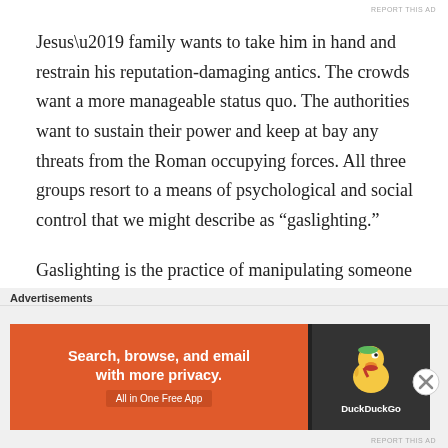Jesus’ family wants to take him in hand and restrain his reputation-damaging antics. The crowds want a more manageable status quo. The authorities want to sustain their power and keep at bay any threats from the Roman occupying forces. All three groups resort to a means of psychological and social control that we might describe as “gaslighting.”
Gaslighting is the practice of manipulating someone into questioning their own sanity rather than challenging the behavior of the manipulator. This is psychological abuse and social control. It hasn’t really occurred to me
[Figure (infographic): DuckDuckGo advertisement banner with orange background. Left side text: 'Search, browse, and email with more privacy.' and 'All in One Free App' button. Right side shows DuckDuckGo duck logo on dark background with DuckDuckGo text.]